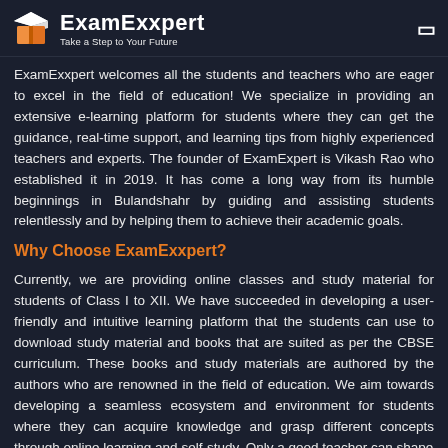ExamExxpert — Take a Step to Your Future
ExamExxpert welcomes all the students and teachers who are eager to excel in the field of education! We specialize in providing an extensive e-learning platform for students where they can get the guidance, real-time support, and learning tips from highly experienced teachers and experts. The founder of ExamExpert is Vikash Rao who established it in 2019. It has come a long way from its humble beginnings in Bulandshahr by guiding and assisting students relentlessly and by helping them to achieve their academic goals.
Why Choose ExamExxpert?
Currently, we are providing online classes and study material for students of Class I to XII. We have succeeded in developing a user-friendly and intuitive learning platform that the students can use to download study material and books that are suited as per the CBSE curriculum. These books and study materials are authored by the authors who are renowned in the field of education. We aim towards developing a seamless ecosystem and environment for students where they can acquire knowledge and grasp different concepts through online learning and self-study. Only a good teacher can shape